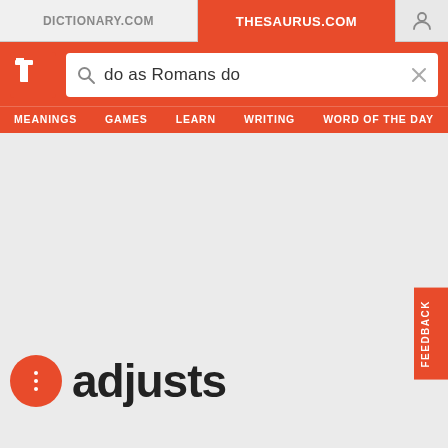[Figure (screenshot): Thesaurus.com website screenshot showing tab bar with DICTIONARY.COM and THESAURUS.COM tabs, a search bar containing 'do as Romans do', navigation menu with MEANINGS, GAMES, LEARN, WRITING, WORD OF THE DAY, a feedback tab on the right, and the word 'adjusts' at the bottom with a red dot-menu circle button.]